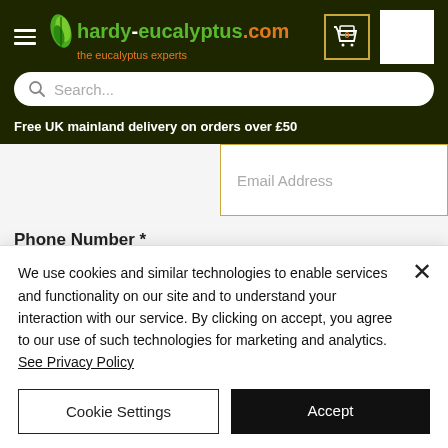[Figure (screenshot): hardy-eucalyptus.com website header with logo, hamburger menu, cart icon, search bar, and delivery banner]
Email Address
Phone Number *
Phone
We use cookies and similar technologies to enable services and functionality on our site and to understand your interaction with our service. By clicking on accept, you agree to our use of such technologies for marketing and analytics. See Privacy Policy
Cookie Settings
Accept